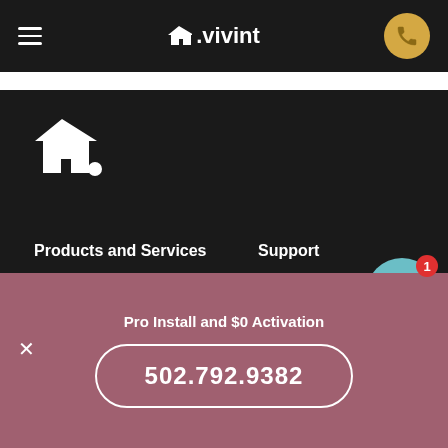Vivint navigation bar with hamburger menu, Vivint logo, and phone button
[Figure (logo): Vivint home security logo - house icon with dot]
Products and Services
Home Security Systems
Security Cameras
Doorbell Cameras
Support
Support
Contact Us
Moving Your System
Pro Install and $0 Activation
502.792.9382